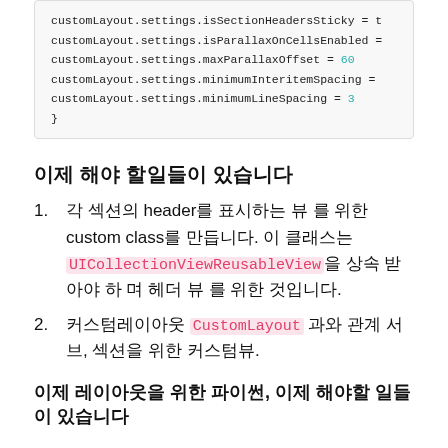customLayout.settings.isSectionHeadersSticky = t
customLayout.settings.isParallaxOnCellsEnabled =
customLayout.settings.maxParallaxOffset = 60
customLayout.settings.minimumInteritemSpacing =
customLayout.settings.minimumLineSpacing = 3
}
이제 해야 할일들이 있습니다
각 섹션의 headerΩ 표시하는 뷰 를 위한 custom classΩ 만듭니다. 이 클래스는 UICollectionViewReusableView을 상속 받아야 하 며 헤더 뷰 를 위한 것입니다.
커스텀레이아웃 CustomLayout 과와 관계 서브, 섹션을 위한 커스텀뷰.
이제 레이아웃을 위한 파이썬, 이제 해야할 일들이 있습니다